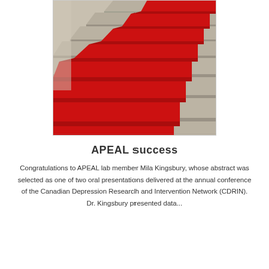[Figure (photo): Photograph of stone stairs with a red carpet runner laid across the steps, viewed from a low angle perspective.]
APEAL success
Congratulations to APEAL lab member Mila Kingsbury, whose abstract was selected as one of two oral presentations delivered at the annual conference of the Canadian Depression Research and Intervention Network (CDRIN). Dr. Kingsbury presented data...